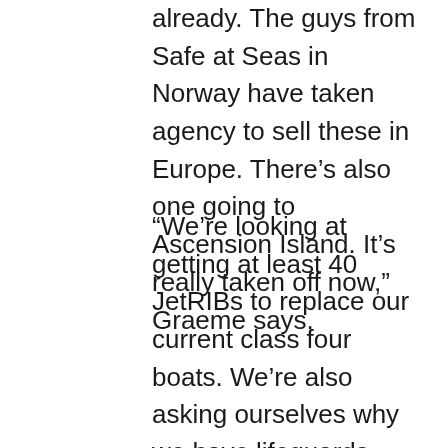already. The guys from Safe at Seas in Norway have taken agency to sell these in Europe. There’s also one going to Ascension Island. It’s really taken off now,” Graeme says.
“We’re looking at getting at least 40 JetRIBs to replace our current class four boats. We’re also asking ourselves why we have lifeguards paddling out on a kneeboard when we could get them out on something like this. They’re going to get there so much quicker, and they’ll also get the casualty back to the beach quicker. We’re probably looking at